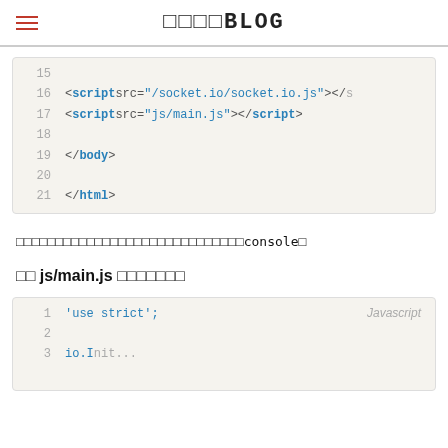□□□□BLOG
[Figure (screenshot): Code block showing HTML lines 15-21 with script and closing body/html tags on a beige background]
□□□□□□□□□□□□□□□□□□□□□□□□□□□□□console□
□□ js/main.js □□□□□□□
[Figure (screenshot): Code block showing Javascript with line 1: 'use strict'; and line 2 empty, with 'Javascript' label in top right]